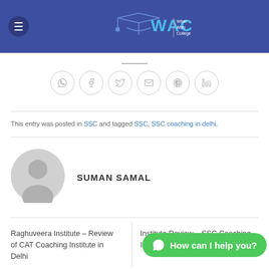WAC | What After College
[Figure (illustration): Social sharing icons row: WhatsApp, Facebook, Twitter, Email, Pinterest, LinkedIn — all in circular outlined buttons]
This entry was posted in SSC and tagged SSC, SSC coaching in delhi.
[Figure (photo): Gray placeholder avatar silhouette icon]
SUMAN SAMAL
Raghuveera Institute – Review of CAT Coaching Institute in Delhi
Institute Review – SSC Coaching Institute In Delhi
[Figure (illustration): Green WhatsApp chat button with text 'How can I help you?']